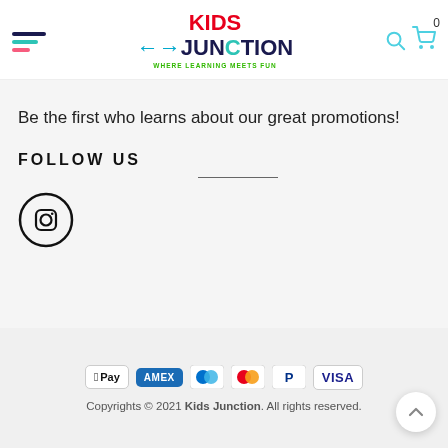[Figure (logo): Kids Junction logo with hamburger menu, search icon, and cart icon with 0 badge]
Be the first who learns about our great promotions!
FOLLOW US
[Figure (logo): Instagram circle icon]
[Figure (logo): Payment method icons: Apple Pay, American Express, Mastercard (blue), Mastercard, PayPal, Visa]
Copyrights © 2021 Kids Junction. All rights reserved.